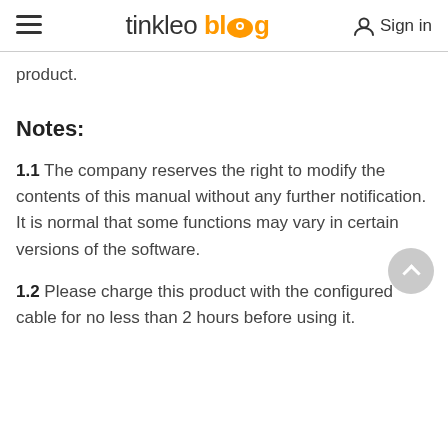tinkleo blog  Sign in
product.
Notes:
1.1 The company reserves the right to modify the contents of this manual without any further notification. It is normal that some functions may vary in certain versions of the software.
1.2 Please charge this product with the configured cable for no less than 2 hours before using it.